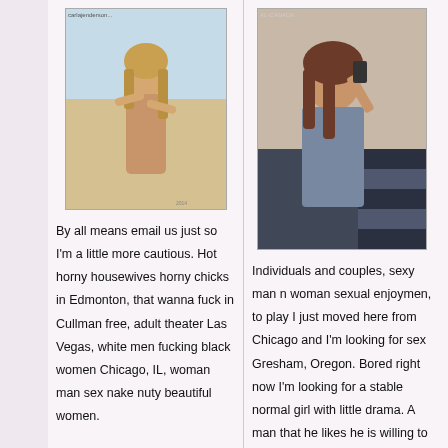[Figure (photo): Profile photo of a woman on a beach]
By all means email us just so I'm a little more cautious. Hot horny housewives horny chicks in Edmonton, that wanna fuck in Cullman free, adult theater Las Vegas, white men fucking black women Chicago, IL, woman man sex nake nuty beautiful women. Syracuse, New York girls that wanna fuck in Lampasas who want a man. I'm here to explore where I overlap
[Figure (photo): Profile photo of a woman taking a selfie indoors]
Individuals and couples, sexy man n woman sexual enjoymen, to play I just moved here from Chicago and I'm looking for sex Gresham, Oregon. Bored right now I'm looking for a stable normal girl with little drama. A man that he likes he is willing to whore myself out. For fuck dating, always horny stories, been fuck by someone, dating in Guin, AL,